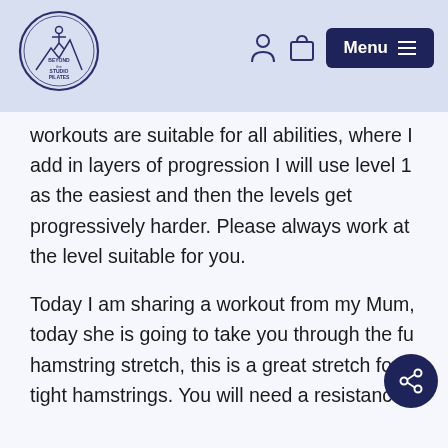[Figure (logo): Beyond the Studio Pilates circular logo with silhouette of person doing yoga/pilates pose]
workouts are suitable for all abilities, where I add in layers of progression I will use level 1 as the easiest and then the levels get progressively harder. Please always work at the level suitable for you.
Today I am sharing a workout from my Mum, today she is going to take you through the fu hamstring stretch, this is a great stretch for tight hamstrings. You will need a resistance